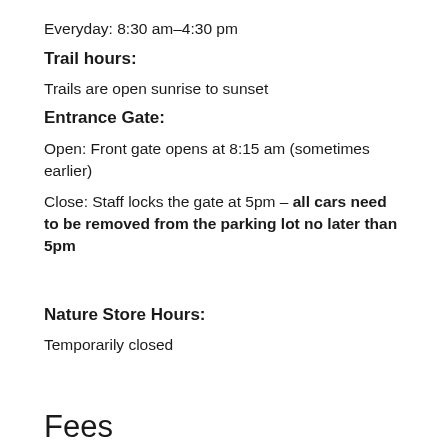Everyday: 8:30 am–4:30 pm
Trail hours:
Trails are open sunrise to sunset
Entrance Gate:
Open: Front gate opens at 8:15 am (sometimes earlier)
Close: Staff locks the gate at 5pm – all cars need to be removed from the parking lot no later than 5pm
Nature Store Hours:
Temporarily closed
Fees